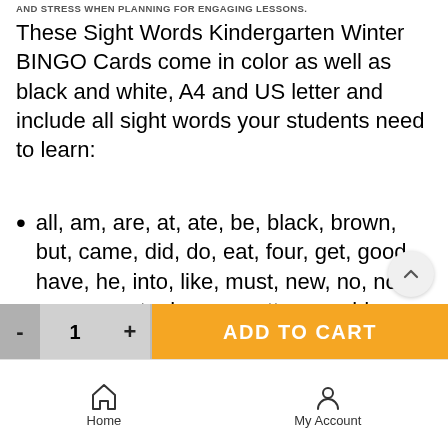AND STRESS WHEN PLANNING FOR ENGAGING LESSONS.
These Sight Words Kindergarten Winter BINGO Cards come in color as well as black and white, A4 and US letter and include all sight words your students need to learn:
all, am, are, at, ate, be, black, brown, but, came, did, do, eat, four, get, good, have, he, into, like, must, new, no, now, on, our, out, please, pretty, ran, ride, saw, say, she, so, soon, that, there, they,